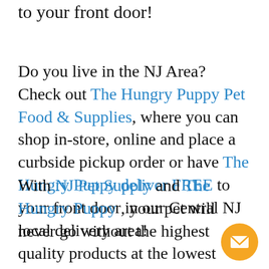to your front door!
Do you live in the NJ Area? Check out The Hungry Puppy Pet Food & Supplies, where you can shop in-store, online and place a curbside pickup order or have The Hungry Puppy deliver FREE to your front door in our Central NJ local delivery area!
With NJ Pet Supply and The Hungry Puppy , your pet will never go without the highest quality products at the lowest possible price!